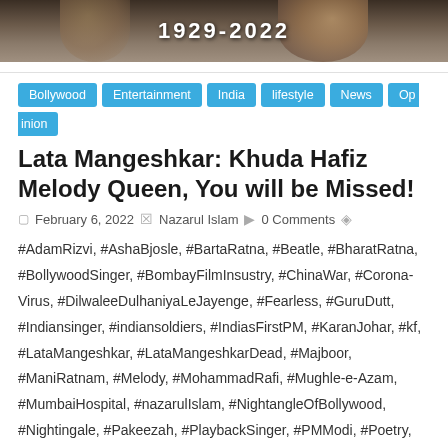[Figure (photo): Hero banner showing '1929-2022' text in white over a dark sepia/brown background with a partial portrait image of Lata Mangeshkar]
Bollywood, Entertainment, India, lifestyle, News, Opinion
Lata Mangeshkar: Khuda Hafiz Melody Queen, You will be Missed!
February 6, 2022  Nazarul Islam  0 Comments
#AdamRizvi, #AshaBjosle, #BartaRatna, #Beatle, #BharatRatna, #BollywoodSinger, #BombayFilmInsustry, #ChinaWar, #Corona-Virus, #DilwaleeDulhaniyaLeJayenge, #Fearless, #GuruDutt, #Indiansinger, #indiansoldiers, #IndiasFirstPM, #KaranJohar, #kf, #LataMangeshkar, #LataMangeshkarDead, #Majboor, #ManiRatnam, #Melody, #MohammadRafi, #Mughle-e-Azam, #MumbaiHospital, #nazarulIslam, #NightangleOfBollywood, #Nightingale, #Pakeezah, #PlaybackSinger, #PMModi, #Poetry, #RajKapoor, #Royalties, #SingerLataMangeshkar, #TheIndiaObserver, #TIO, #YeMeraWatanKeLogo,